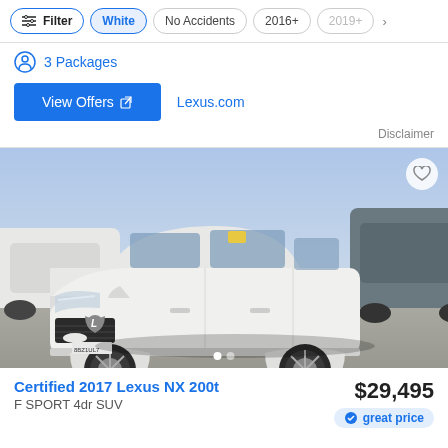Filter
White
No Accidents
2016+
2019+
3 Packages
View Offers
Lexus.com
Disclaimer
[Figure (photo): White Lexus NX 200t SUV in a dealership parking lot, front three-quarter view]
Certified 2017 Lexus NX 200t
F SPORT 4dr SUV
$29,495
great price